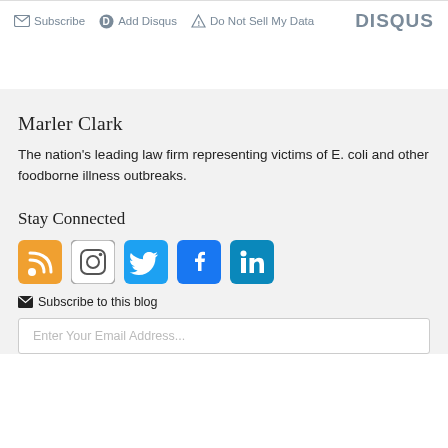Subscribe  Add Disqus  Do Not Sell My Data  DISQUS
Marler Clark
The nation's leading law firm representing victims of E. coli and other foodborne illness outbreaks.
Stay Connected
[Figure (infographic): Social media icons: RSS (orange), Instagram (white/gray border), Twitter (blue), Facebook (dark blue), LinkedIn (teal)]
Subscribe to this blog
Enter Your Email Address...